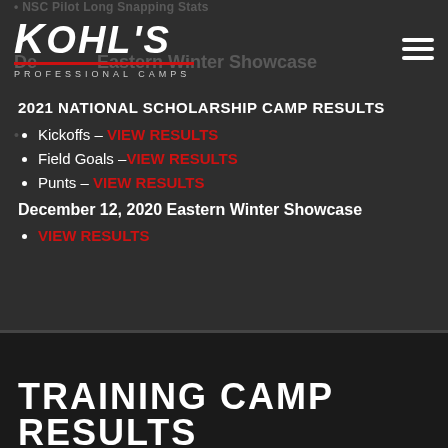NSC Pilot Long Snapping Stats
December 2021 Eastern Winter Showcase
[Figure (logo): Kohl's Professional Camps logo]
2021 NATIONAL SCHOLARSHIP CAMP RESULTS
Kickoffs – VIEW RESULTS
Field Goals – VIEW RESULTS
Punts – VIEW RESULTS
December 12, 2020 Eastern Winter Showcase
VIEW RESULTS
TRAINING CAMP RESULTS